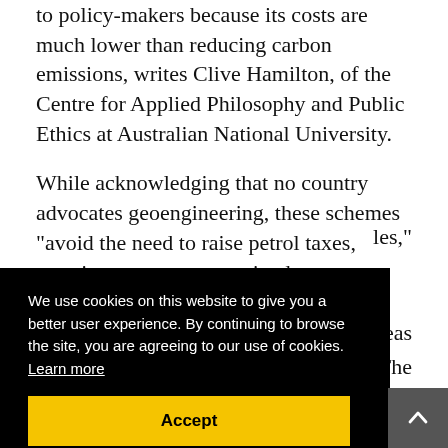to policy-makers because its costs are much lower than reducing carbon emissions, writes Clive Hamilton, of the Centre for Applied Philosophy and Public Ethics at Australian National University.
While acknowledging that no country advocates geoengineering, these schemes “avoid the need to raise petrol taxes, permit yet more unrestrained … lifestyles,”
s ideas The 19 in set
[Figure (screenshot): Cookie consent banner overlay with black background. Text reads: 'We use cookies on this website to give you a better user experience. By continuing to browse the site, you are agreeing to our use of cookies. Learn more'. Below is a yellow Accept button.]
[Figure (other): Grey scroll-to-top button in bottom-right corner with an upward-pointing chevron arrow icon.]